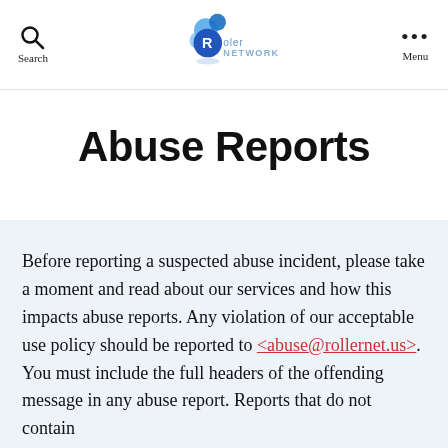Search | Roller Network | Menu
Abuse Reports
Before reporting a suspected abuse incident, please take a moment and read about our services and how this impacts abuse reports. Any violation of our acceptable use policy should be reported to <abuse@rollernet.us>. You must include the full headers of the offending message in any abuse report. Reports that do not contain